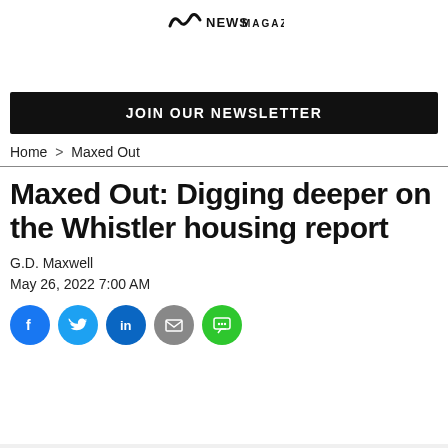NEWSMAGAZINE (logo)
JOIN OUR NEWSLETTER
Home > Maxed Out
Maxed Out: Digging deeper on the Whistler housing report
G.D. Maxwell
May 26, 2022 7:00 AM
[Figure (other): Social share buttons: Facebook, Twitter, LinkedIn, Email, SMS]